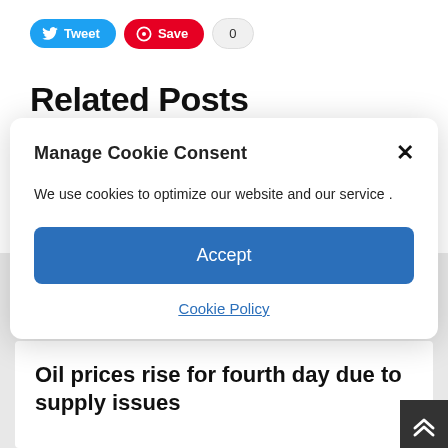[Figure (other): Twitter Tweet button (blue pill), Pinterest Save button (red pill), and save count badge showing 0]
Related Posts
[Figure (screenshot): Cookie consent modal dialog with title 'Manage Cookie Consent', close X button, body text 'We use cookies to optimize our website and our service .', Accept button, and Cookie Policy link]
Oil prices rise for fourth day due to supply issues
[Figure (other): Back to top button (dark gray square with double up chevron arrows)]